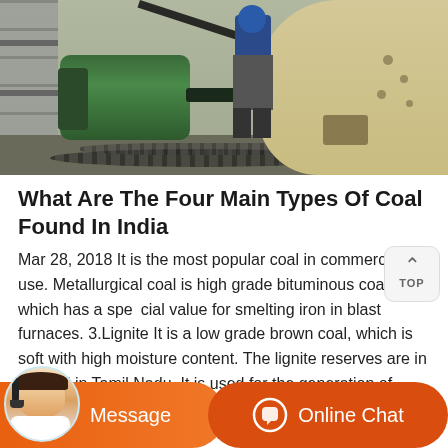[Figure (photo): Industrial machinery with a large green electric motor, cables on the ground, a worker in blue standing near a large rounded wall/tank structure, and metal scaffolding on the left]
What Are The Four Main Types Of Coal Found In India
Mar 28, 2018 It is the most popular coal in commercial use. Metallurgical coal is high grade bituminous coal which has a special value for smelting iron in blast furnaces. 3.Lignite It is a low grade brown coal, which is soft with high moisture content. The lignite reserves are in Neyveli in Tamil Nadu. It is used for the generation of electricity. 4.